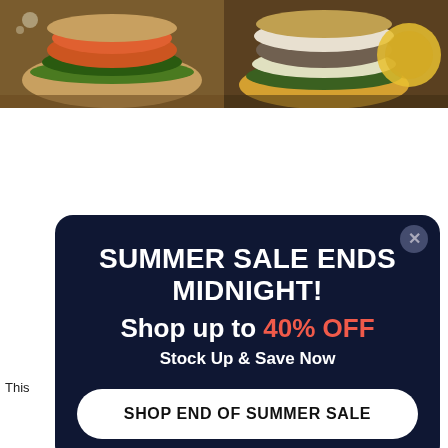[Figure (photo): Two food photos side by side: left shows a veggie/salmon burger with lettuce on a bun; right shows a white-sauce topped burger with a lemon wedge on a yellow/sesame bun.]
This
[Figure (infographic): Dark navy modal popup overlay with close button (X). Headline: SUMMER SALE ENDS MIDNIGHT! Subline: Shop up to 40% OFF (40% OFF in coral/red). Tagline: Stock Up & Save Now. Button: SHOP END OF SUMMER SALE]